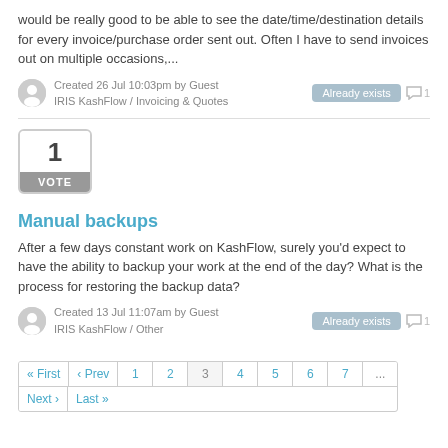would be really good to be able to see the date/time/destination details for every invoice/purchase order sent out. Often I have to send invoices out on multiple occasions,...
Created 26 Jul 10:03pm by Guest
IRIS KashFlow / Invoicing & Quotes
Already exists  1
1
VOTE
Manual backups
After a few days constant work on KashFlow, surely you'd expect to have the ability to backup your work at the end of the day? What is the process for restoring the backup data?
Created 13 Jul 11:07am by Guest
IRIS KashFlow / Other
Already exists  1
« First  ‹ Prev  1  2  3  4  5  6  7  ...
Next ›  Last »